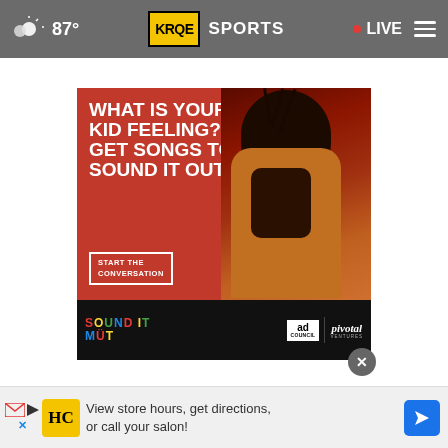87° KRQE SPORTS • LIVE
[Figure (photo): Advertisement for 'Sound It Out' campaign by Ad Council and Pivotal Ventures. Red background with large white text reading 'WHAT IS YOUR KID FEELING? GET SONGS TO SOUND IT OUT.' with a CTA button 'START THE CONVERSATION'. Shows a young Black girl with braids covering one eye. Bottom bar has colorful 'SOUND IT OUT' logo, Ad Council, and Pivotal Ventures logos on black background.]
[Figure (photo): Bottom banner advertisement showing HC (Hair Club) logo and text 'View store hours, get directions, or call your salon!' with a blue navigation arrow icon.]